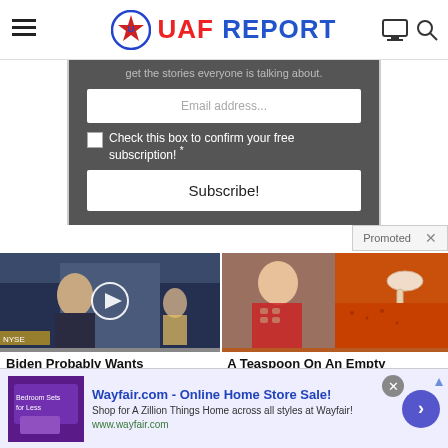UAF REPORT
get the stories everyone is talking about.
Email address...
Check this box to confirm your free subscription! *
Subscribe!
Promoted ×
[Figure (photo): Video thumbnail showing man in suit at news desk with play button overlay, NYSE backdrop]
Biden Probably Wants
[Figure (photo): Composite image of fit woman and spice on a spoon]
A Teaspoon On An Empty
[Figure (photo): Advertisement banner for Wayfair.com - Online Home Store Sale with bedroom sets image]
Wayfair.com - Online Home Store Sale!
Shop for A Zillion Things Home across all styles at Wayfair!
www.wayfair.com